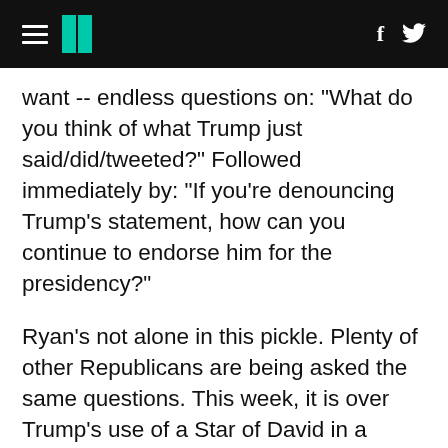HuffPost header navigation with hamburger menu, logo, Facebook and Twitter icons
want -- endless questions on: "What do you think of what Trump just said/did/tweeted?" Followed immediately by: "If you're denouncing Trump's statement, how can you continue to endorse him for the presidency?"
Ryan's not alone in this pickle. Plenty of other Republicans are being asked the same questions. This week, it is over Trump's use of a Star of David in a nasty tweet about Hillary Clinton. Next week, it'll be something even more outrageous (if the past is any prologue). Ryan's big agenda, meanwhile, gathers dust on reporters' shelves. After all, why write about the